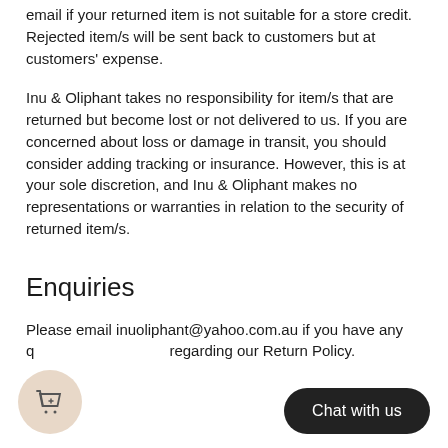email if your returned item is not suitable for a store credit. Rejected item/s will be sent back to customers but at customers' expense.
Inu & Oliphant takes no responsibility for item/s that are returned but become lost or not delivered to us. If you are concerned about loss or damage in transit, you should consider adding tracking or insurance. However, this is at your sole discretion, and Inu & Oliphant makes no representations or warranties in relation to the security of returned item/s.
Enquiries
Please email inuoliphant@yahoo.com.au if you have any questions regarding our Return Policy.